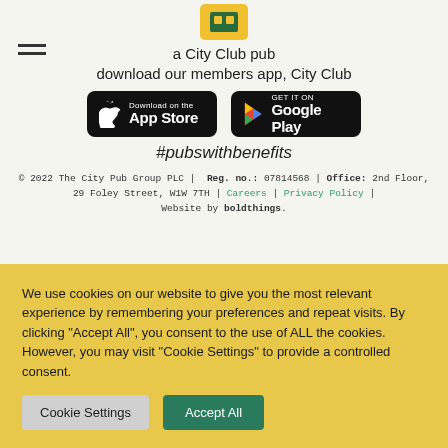[Figure (logo): City Club pub app logo icon at top center]
a City Club pub
download our members app, City Club
[Figure (screenshot): Download on the App Store button (black)]
[Figure (screenshot): GET IT ON Google Play button (black)]
#pubswithbenefits
© 2022 The City Pub Group PLC | Reg. no.: 07814568 | Office: 2nd Floor, 29 Foley Street, W1W 7TH | Careers | Privacy Policy | Website by boldthings.
We use cookies on our website to give you the most relevant experience by remembering your preferences and repeat visits. By clicking "Accept All", you consent to the use of ALL the cookies. However, you may visit "Cookie Settings" to provide a controlled consent.